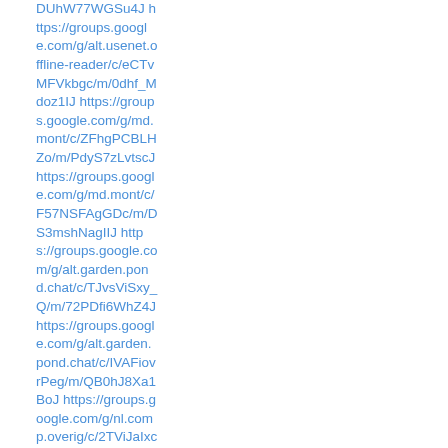DUhW77WGSu4J https://groups.google.com/g/alt.usenet.offline-reader/c/eCTvMFVkbgc/m/0dhf_Mdoz1IJ https://groups.google.com/g/md.mont/c/ZFhgPCBLHZo/m/PdyS7zLvtscJ https://groups.google.com/g/md.mont/c/F57NSFAgGDc/m/DS3mshNagIIJ https://groups.google.com/g/alt.garden.pond.chat/c/TJvsViSxy_Q/m/72PDfi6WhZ4J https://groups.google.com/g/alt.garden.pond.chat/c/IVAFiovrPeg/m/QB0hJ8Xa1BoJ https://groups.google.com/g/nl.comp.overig/c/2TViJaIxc9U/m/k9ZjzHI5eGQJ https://groups.google.com/g/no.fag.diverse/c/vZMuos5qn5Q/m/QZDsdGix_9oJ https://groups.google.com/